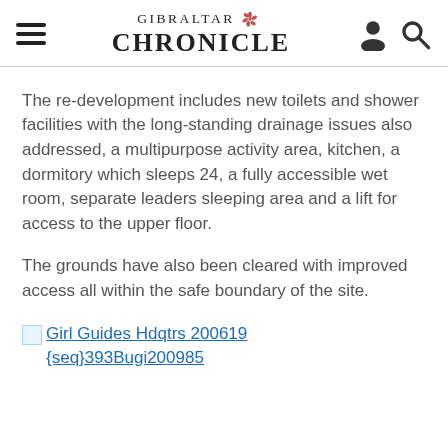GIBRALTAR CHRONICLE
The re-development includes new toilets and shower facilities with the long-standing drainage issues also addressed, a multipurpose activity area, kitchen, a dormitory which sleeps 24, a fully accessible wet room, separate leaders sleeping area and a lift for access to the upper floor.
The grounds have also been cleared with improved access all within the safe boundary of the site.
[Figure (other): Broken image placeholder icon linking to Girl Guides Hdqtrs 200619 {seq}393Bugi200985]